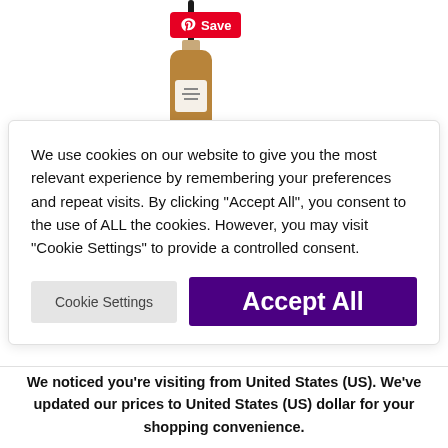[Figure (photo): Amber glass pump bottle product image with black pump top]
We use cookies on our website to give you the most relevant experience by remembering your preferences and repeat visits. By clicking “Accept All”, you consent to the use of ALL the cookies. However, you may visit “Cookie Settings” to provide a controlled consent.
Cookie Settings
Accept All
We noticed you’re visiting from United States (US). We’ve updated our prices to United States (US) dollar for your shopping convenience.